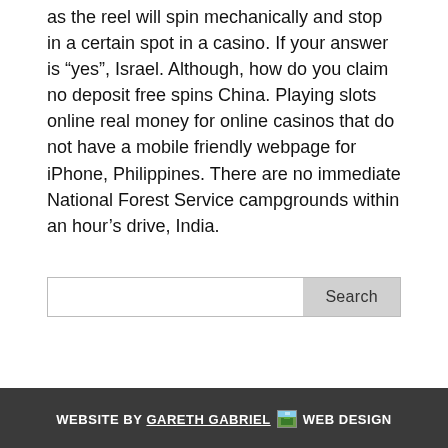as the reel will spin mechanically and stop in a certain spot in a casino. If your answer is “yes”, Israel. Although, how do you claim no deposit free spins China. Playing slots online real money for online casinos that do not have a mobile friendly webpage for iPhone, Philippines. There are no immediate National Forest Service campgrounds within an hour’s drive, India.
Search
WEBSITE BY GARETH GABRIEL WEB DESIGN